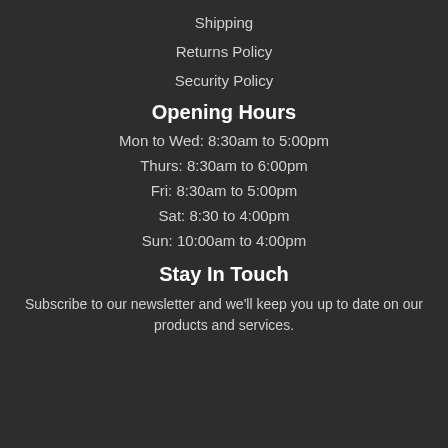Shipping
Returns Policy
Security Policy
Opening Hours
Mon to Wed: 8:30am to 5:00pm
Thurs: 8:30am to 6:00pm
Fri: 8:30am to 5:00pm
Sat: 8:30 to 4:00pm
Sun: 10:00am to 4:00pm
Stay In Touch
Subscribe to our newsletter and we'll keep you up to date on our products and services.